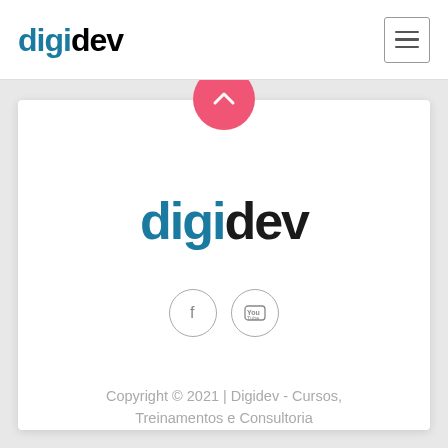digidev
[Figure (logo): digidev logo centered in white card footer section]
[Figure (illustration): Social media icons: Facebook (f) and YouTube circles with border]
Copyright © 2021 | Digidev - Cursos, Treinamentos e Consultoria